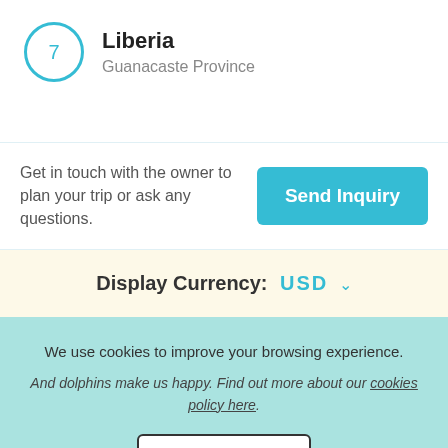Liberia
Guanacaste Province
Get in touch with the owner to plan your trip or ask any questions.
Send Inquiry
Display Currency: USD
We use cookies to improve your browsing experience.
And dolphins make us happy. Find out more about our cookies policy here.
Close